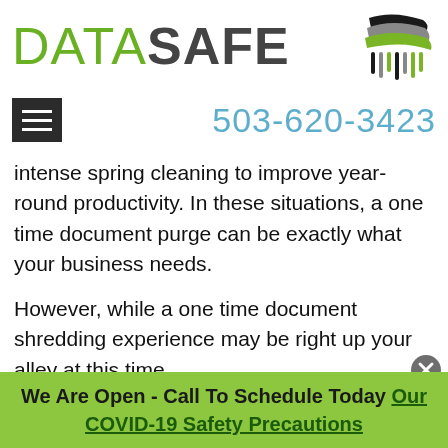[Figure (logo): DataSafe logo with green DATA text, dark gray SAFE text, and shredded paper icon in black, gray, and green]
503-620-3423
intense spring cleaning to improve year-round productivity. In these situations, a one time document purge can be exactly what your business needs.
However, while a one time document shredding experience may be right up your alley at this time,
We Are Open - Call To Schedule Today Our COVID-19 Safety Precautions